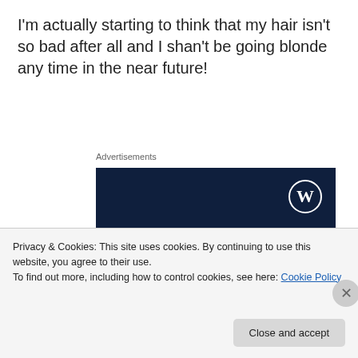I'm actually starting to think that my hair isn't so bad after all and I shan't be going blonde any time in the near future!
Advertisements
[Figure (screenshot): WordPress advertisement banner with dark navy background showing WordPress logo (W in circle) in top right, and text 'Opinions. We all have them!' in white serif font.]
Privacy & Cookies: This site uses cookies. By continuing to use this website, you agree to their use.
To find out more, including how to control cookies, see here: Cookie Policy